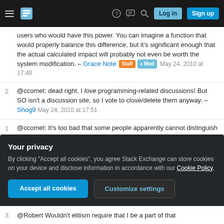Stack Exchange navigation bar with hamburger menu, logo, help, chat, search icons, Log in and Sign up buttons
users who would have this power. You can imagine a function that would properly balance this difference, but it's significant enough that the actual calculated impact will probably not even be worth the system modification. – Grace Note Staff ♦ Mod May 24, 2010 at 17:48
2  @ccomet: dead right. I love programming-related discussions! But SO isn't a discussion site, so I vote to close/delete them anyway. – Shog9 May 24, 2010 at 17:51
1  @ccomet: It's too bad that some people apparently cannot distinguish between good content and bad
Your privacy
By clicking "Accept all cookies", you agree Stack Exchange can store cookies on your device and disclose information in accordance with our Cookie Policy.
Accept all cookies  Customize settings
3  @Robert Wouldn't elitism require that I be a part of that